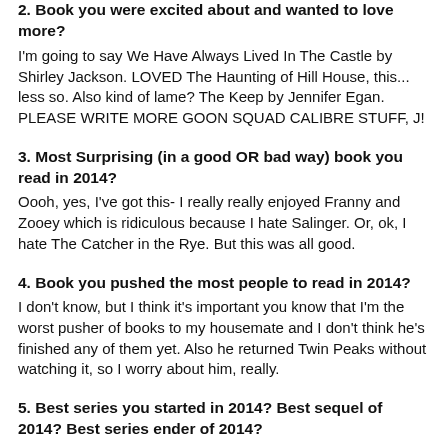2.  Book you were excited about and wanted to love more?
I'm going to say We Have Always Lived In The Castle by Shirley Jackson. LOVED The Haunting of Hill House, this... less so. Also kind of lame? The Keep by Jennifer Egan. PLEASE WRITE MORE GOON SQUAD CALIBRE STUFF, J!
3. Most Surprising (in a good OR bad way) book you read in 2014?
Oooh, yes, I've got this- I really really enjoyed Franny and Zooey which is ridiculous because I hate Salinger. Or, ok, I hate The Catcher in the Rye. But this was all good.
4. Book you pushed the most people to read in 2014?
I don't know, but I think it's important you know that I'm the worst pusher of books to my housemate and I don't think he's finished any of them yet. Also he returned Twin Peaks without watching it, so I worry about him, really.
5. Best series you started in 2014? Best sequel of 2014? Best series ender of 2014?